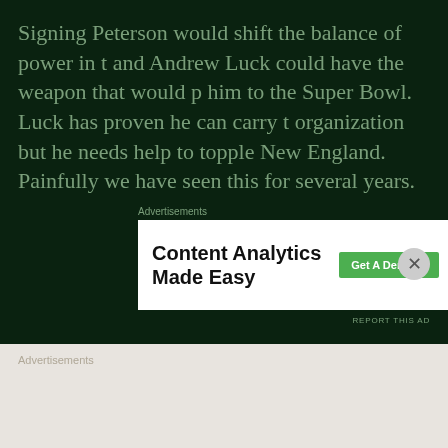Signing Peterson would shift the balance of power in t… and Andrew Luck could have the weapon that would p… him to the Super Bowl. Luck has proven he can carry t… organization but he needs help to topple New England. Painfully we have seen this for several years.
Advertisements
[Figure (screenshot): Advertisement banner for Parse.ly: 'Content Analytics Made Easy' with a green 'Get A Demo →' button and Parse.ly logo]
REPORT THIS AD
Adrian Peterson has a decision to make but one thing is certain, he will play with a serious chip on his shoulde… first year back. If the performance is anything like his … he will get stronger by the game. He should have at…
Advertisements